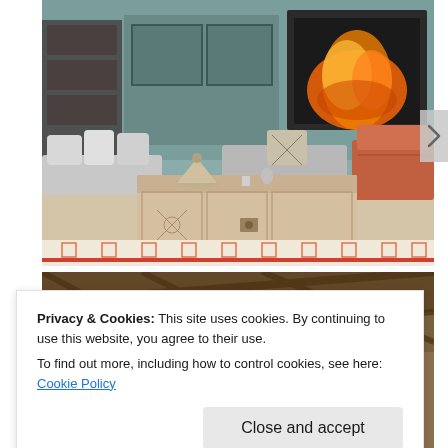[Figure (photo): Interior photo showing a Moroccan-style lounge area with a large ornately carved wooden chest as a coffee table, colorful cushions and pillows on low seating, patterned rugs, and a fireplace in the background.]
[Figure (photo): Partial view of another interior photo, showing what appears to be a ceiling or architectural detail, partially obscured by the cookie consent banner.]
Privacy & Cookies: This site uses cookies. By continuing to use this website, you agree to their use. To find out more, including how to control cookies, see here: Cookie Policy
Close and accept